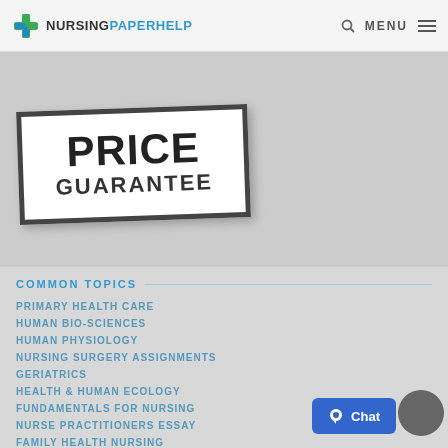NURSINGPAPERHELP | MENU
[Figure (photo): Price Guarantee badge/sign — white box with black border showing 'PRICE GUARANTEE' text in bold, slightly rotated, on a gray background]
COMMON TOPICS
PRIMARY HEALTH CARE
HUMAN BIO-SCIENCES
HUMAN PHYSIOLOGY
NURSING SURGERY ASSIGNMENTS
GERIATRICS
HEALTH & HUMAN ECOLOGY
FUNDAMENTALS FOR NURSING
NURSE PRACTITIONERS ESSAY
FAMILY HEALTH NURSING